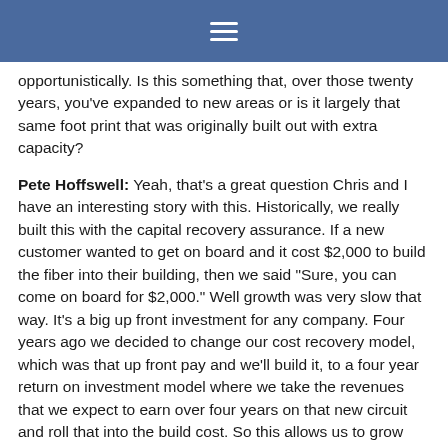≡
opportunistically. Is this something that, over those twenty years, you've expanded to new areas or is it largely that same foot print that was originally built out with extra capacity?
Pete Hoffswell: Yeah, that's a great question Chris and I have an interesting story with this. Historically, we really built this with the capital recovery assurance. If a new customer wanted to get on board and it cost $2,000 to build the fiber into their building, then we said "Sure, you can come on board for $2,000." Well growth was very slow that way. It's a big up front investment for any company. Four years ago we decided to change our cost recovery model, which was that up front pay and we'll build it, to a four year return on investment model where we take the revenues that we expect to earn over four years on that new circuit and roll that into the build cost. So this allows us to grow